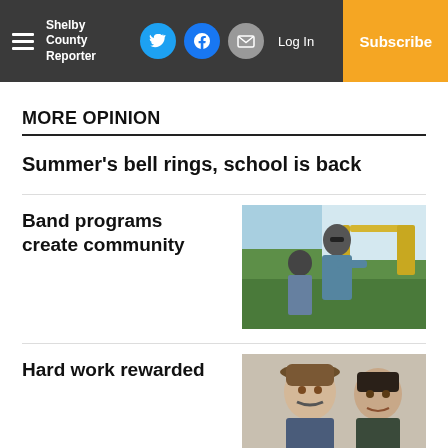Shelby County Reporter — Log In | Subscribe
MORE OPINION
Summer's bell rings, school is back
Band programs create community
[Figure (photo): Student playing trombone outdoors at band practice]
Hard work rewarded
[Figure (photo): Two men posing together outdoors]